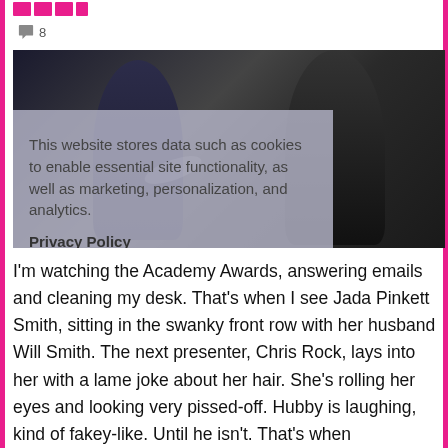[Figure (logo): Pink/magenta logo blocks (partial, cropped at top)]
8 (comment count)
[Figure (photo): Photo of two people at the Academy Awards, overlaid with a cookie consent dialog. The dialog reads: 'This website stores data such as cookies to enable essential site functionality, as well as marketing, personalization, and analytics. Privacy Policy' with Accept and Deny buttons.]
I'm watching the Academy Awards, answering emails and cleaning my desk. That's when I see Jada Pinkett Smith, sitting in the swanky front row with her husband Will Smith. The next presenter, Chris Rock, lays into her with a lame joke about her hair. She's rolling her eyes and looking very pissed-off. Hubby is laughing, kind of fakey-like. Until he isn't. That's when